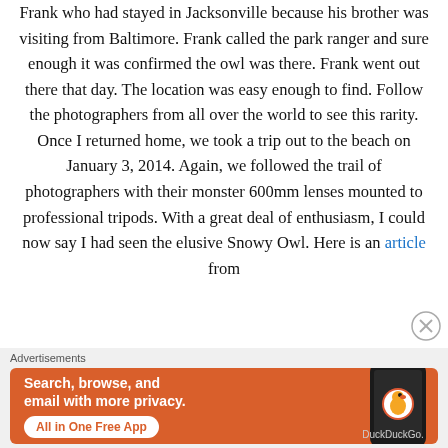Frank who had stayed in Jacksonville because his brother was visiting from Baltimore. Frank called the park ranger and sure enough it was confirmed the owl was there. Frank went out there that day. The location was easy enough to find. Follow the photographers from all over the world to see this rarity. Once I returned home, we took a trip out to the beach on January 3, 2014. Again, we followed the trail of photographers with their monster 600mm lenses mounted to professional tripods. With a great deal of enthusiasm, I could now say I had seen the elusive Snowy Owl. Here is an article from
[Figure (other): Close (X) button circle icon in the upper right area]
Advertisements
[Figure (illustration): DuckDuckGo advertisement banner with orange background. Text reads: Search, browse, and email with more privacy. All in One Free App. Shows a smartphone with DuckDuckGo logo.]